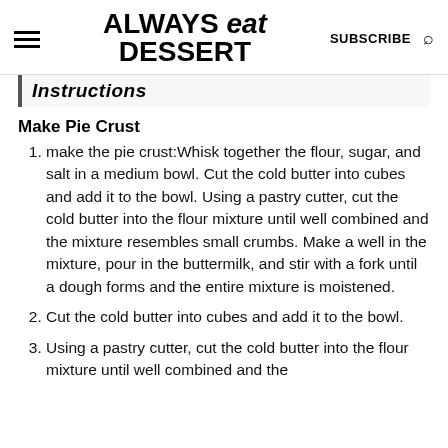[Figure (logo): Always Eat Dessert website header with hamburger menu, logo, SUBSCRIBE text, and search icon]
Instructions
Make Pie Crust
make the pie crust:Whisk together the flour, sugar, and salt in a medium bowl. Cut the cold butter into cubes and add it to the bowl. Using a pastry cutter, cut the cold butter into the flour mixture until well combined and the mixture resembles small crumbs. Make a well in the mixture, pour in the buttermilk, and stir with a fork until a dough forms and the entire mixture is moistened.
Cut the cold butter into cubes and add it to the bowl.
Using a pastry cutter, cut the cold butter into the flour mixture until well combined and the